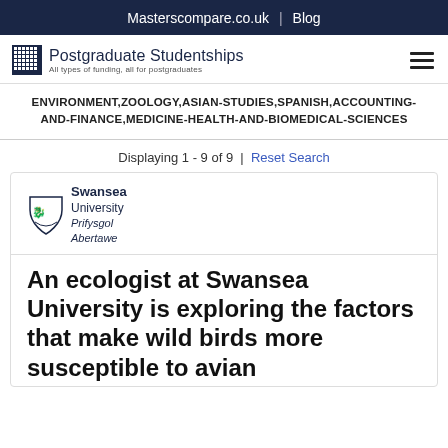Masterscompare.co.uk | Blog
[Figure (logo): Postgraduate Studentships logo with grid icon and tagline 'All types of funding, all for postgraduates']
ENVIRONMENT,ZOOLOGY,ASIAN-STUDIES,SPANISH,ACCOUNTING-AND-FINANCE,MEDICINE-HEALTH-AND-BIOMEDICAL-SCIENCES
Displaying 1 - 9 of 9 | Reset Search
[Figure (logo): Swansea University / Prifysgol Abertawe logo with shield]
An ecologist at Swansea University is exploring the factors that make wild birds more susceptible to avian